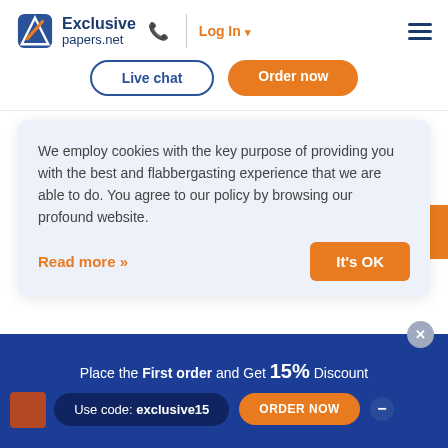[Figure (logo): Exclusive papers.net logo with blue shield icon]
Log In
Live chat
Order now
We employ cookies with the key purpose of providing you with the best and flabbergasting experience that we are able to do. You agree to our policy by browsing our profound website.
Read more »
It's OK
Silver Member
5%
Place the First order and Get 15% Discount
Use code: exclusive15
ORDER NOW